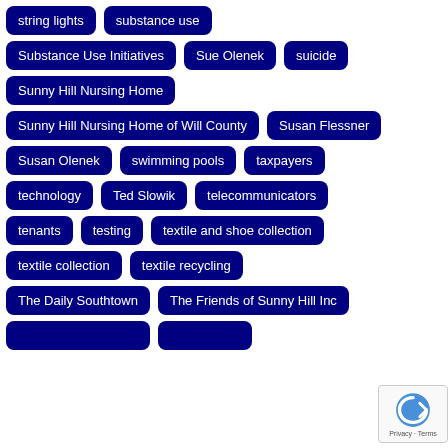string lights
substance use
Substance Use Initiatives
Sue Olenek
suicide
Sunny Hill Nursing Home
Sunny Hill Nursing Home of Will County
Susan Flessner
Susan Olenek
swimming pools
taxpayers
technology
Ted Slowik
telecommunicators
tenants
testing
textile and shoe collection
textile collection
textile recycling
The Daily Southtown
The Friends of Sunny Hill Inc